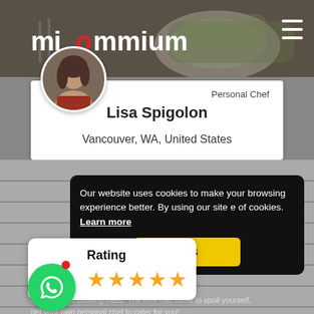miommium
[Figure (photo): Food photo background in header showing salad bowl and plates]
[Figure (photo): Circular profile photo of Lisa Spigolon]
Personal Chef
Lisa Spigolon
Vancouver, WA, United States
Our website uses cookies to make your browsing experience better. By using our site e of cookies.  Learn more
Yes
Rating
★★★★★
even teach a cooking class. The time has come to spoil yourself, get your own personal chef to cater for you!